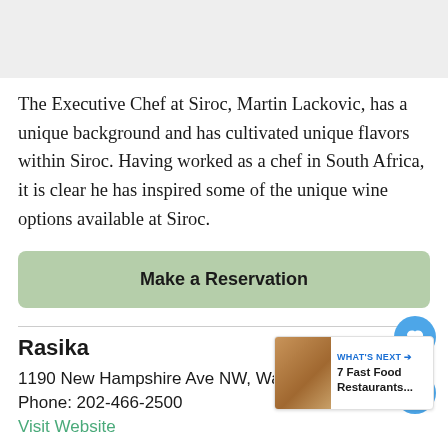[Figure (photo): Top image placeholder (partially visible photo at top of page)]
The Executive Chef at Siroc, Martin Lackovic, has a unique background and has cultivated unique flavors within Siroc. Having worked as a chef in South Africa, it is clear he has inspired some of the unique wine options available at Siroc.
Make a Reservation
Rasika
1190 New Hampshire Ave NW, Washington,
Phone: 202-466-2500
Visit Website
[Figure (infographic): WHAT'S NEXT → 7 Fast Food Restaurants... promotional box with food image thumbnail]